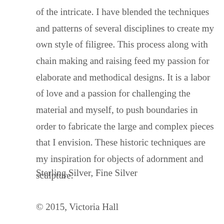of the intricate. I have blended the techniques and patterns of several disciplines to create my own style of filigree. This process along with chain making and raising feed my passion for elaborate and methodical designs. It is a labor of love and a passion for challenging the material and myself, to push boundaries in order to fabricate the large and complex pieces that I envision. These historic techniques are my inspiration for objects of adornment and sculpture.
Sterling Silver, Fine Silver
© 2015, Victoria Hall